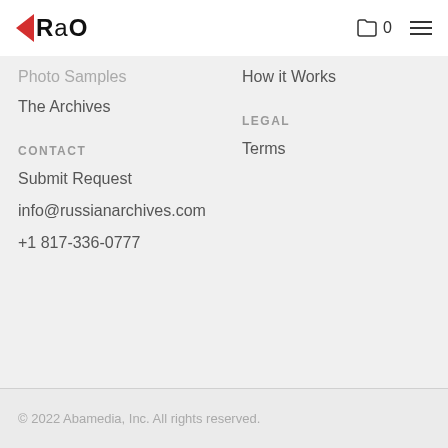RaO  0  ≡
Photo Samples
How it Works
The Archives
LEGAL
CONTACT
Terms
Submit Request
info@russianarchives.com
+1 817-336-0777
© 2022 Abamedia, Inc. All rights reserved.